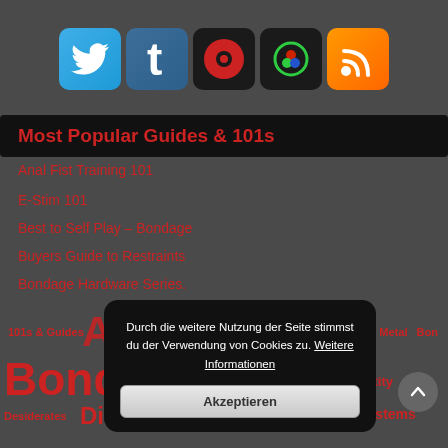[Figure (other): Row of five social media icon buttons: Twitter (blue bird), Tumblr (blue t), a red circle icon, a swirl icon on dark background, and orange RSS feed icon]
Most Popular Guides & 101s
Anal Fist Training 101
E-Stim 101
Best to Self Play – Bondage
Buyers Guide to Restraints
Bondage Hardware Series.
101s & Guides  Ar...  ...  Realistic  Metal  Bon
Bondage  ...  Chastity  ...ue
Desiderates  Dildo  ...  E-Stim  E-Stim Systems  Elect...
[Figure (other): Cookie consent dialog overlay with German text: 'Durch die weitere Nutzung der Seite stimmst du der Verwendung von Cookies zu. Weitere Informationen' and an 'Akzeptieren' button]